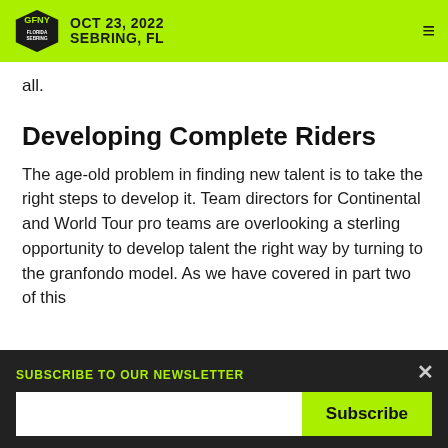GFNY OCT 23, 2022 SEBRING, FL
all.
Developing Complete Riders
The age-old problem in finding new talent is to take the right steps to develop it. Team directors for Continental and World Tour pro teams are overlooking a sterling opportunity to develop talent the right way by turning to the granfondo model. As we have covered in part two of this
SUBSCRIBE TO OUR NEWSLETTER
Subscribe